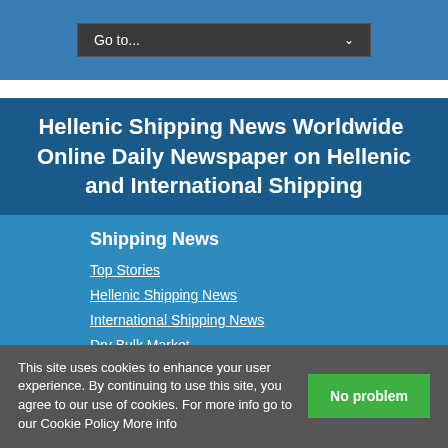Go to...
Hellenic Shipping News Worldwide  Online Daily Newspaper on Hellenic and International Shipping
Shipping News
Top Stories
Hellenic Shipping News
International Shipping News
Dry Bulk Market
Piracy and Security News
Shipping: Emission Possible
Marine Insurance P&I Club News
Port News
This site uses cookies to enhance your user experience. By continuing to use this site, you agree to our use of cookies. For more info go to our Cookie Policy More info